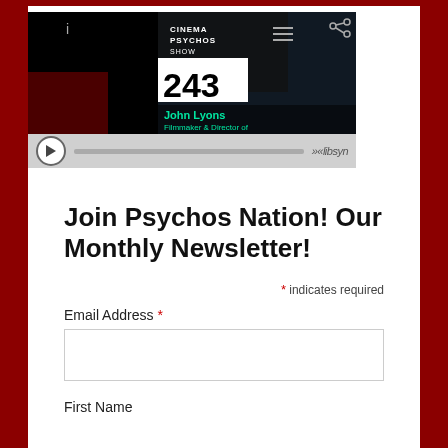[Figure (screenshot): Cinema Psychos Show episode 243 podcast player thumbnail featuring John Lyons, Filmmaker & Director of, with black background and a smiling man in glasses pointing. Below is an audio player bar with play button, progress bar, and libsyn logo.]
Join Psychos Nation! Our Monthly Newsletter!
* indicates required
Email Address *
First Name